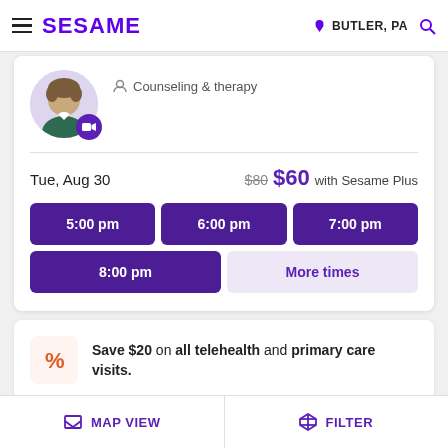SESAME — BUTLER, PA
[Figure (photo): Provider headshot with video call badge]
Counseling & therapy
Tue, Aug 30
$80 $60 with Sesame Plus
5:00 pm
6:00 pm
7:00 pm
8:00 pm
More times
Save $20 on all telehealth and primary care visits.
MAP VIEW   FILTER